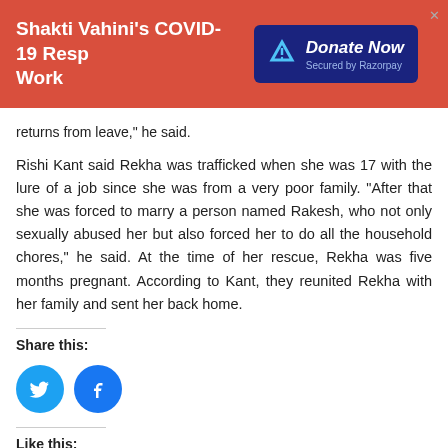Shakti Vahini's COVID-19 Resp Work
returns from leave," he said.
Rishi Kant said Rekha was trafficked when she was 17 with the lure of a job since she was from a very poor family. "After that she was forced to marry a person named Rakesh, who not only sexually abused her but also forced her to do all the household chores," he said. At the time of her rescue, Rekha was five months pregnant. According to Kant, they reunited Rekha with her family and sent her back home.
Share this:
[Figure (illustration): Twitter and Facebook share buttons as blue circles with icons]
Like this:
[Figure (illustration): Like button widget and reCAPTCHA badge]
Be the first to like this.